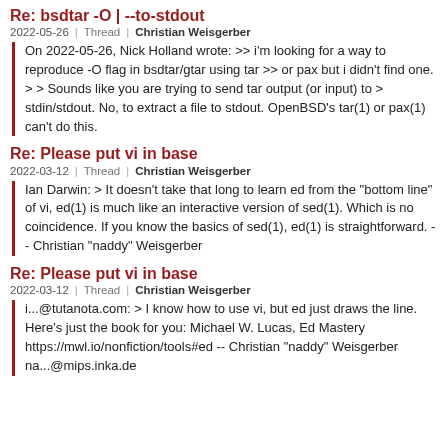Re: bsdtar -O | --to-stdout
2022-05-26 | Thread | Christian Weisgerber
On 2022-05-26, Nick Holland wrote: >> i'm looking for a way to reproduce -O flag in bsdtar/gtar using tar >> or pax but i didn't find one. > > Sounds like you are trying to send tar output (or input) to > stdin/stdout. No, to extract a file to stdout. OpenBSD's tar(1) or pax(1) can't do this.
Re: Please put vi in base
2022-03-12 | Thread | Christian Weisgerber
Ian Darwin: > It doesn't take that long to learn ed from the "bottom line" of vi, ed(1) is much like an interactive version of sed(1). Which is no coincidence. If you know the basics of sed(1), ed(1) is straightforward. -- Christian "naddy" Weisgerber
Re: Please put vi in base
2022-03-12 | Thread | Christian Weisgerber
i...@tutanota.com: > I know how to use vi, but ed just draws the line. Here's just the book for you: Michael W. Lucas, Ed Mastery https://mwl.io/nonfiction/tools#ed -- Christian "naddy" Weisgerber na...@mips.inka.de